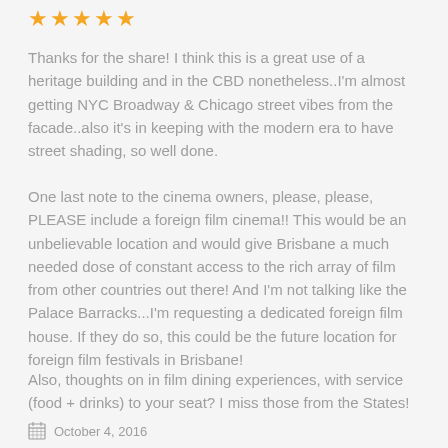[Figure (other): Five gold/orange star rating icons]
Thanks for the share! I think this is a great use of a heritage building and in the CBD nonetheless..I'm almost getting NYC Broadway & Chicago street vibes from the facade..also it's in keeping with the modern era to have street shading, so well done.
One last note to the cinema owners, please, please, PLEASE include a foreign film cinema!! This would be an unbelievable location and would give Brisbane a much needed dose of constant access to the rich array of film from other countries out there! And I'm not talking like the Palace Barracks...I'm requesting a dedicated foreign film house. If they do so, this could be the future location for foreign film festivals in Brisbane!
Also, thoughts on in film dining experiences, with service (food + drinks) to your seat? I miss those from the States!
October 4, 2016